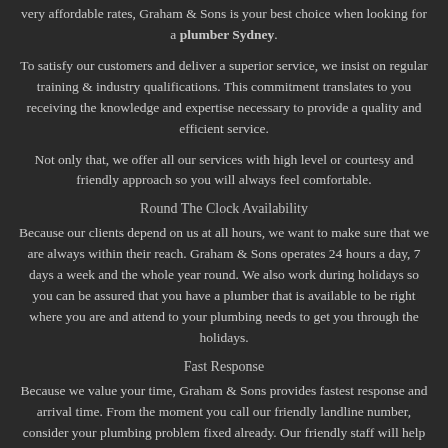very affordable rates, Graham & Sons is your best choice when looking for a plumber Sydney.
To satisfy our customers and deliver a superior service, we insist on regular training & industry qualifications. This commitment translates to you receiving the knowledge and expertise necessary to provide a quality and efficient service.
Not only that, we offer all our services with high level or courtesy and friendly approach so you will always feel comfortable.
Round The Clock Availability
Because our clients depend on us at all hours, we want to make sure that we are always within their reach. Graham & Sons operates 24 hours a day, 7 days a week and the whole year round. We also work during holidays so you can be assured that you have a plumber that is available to be right where you are and attend to your plumbing needs to get you through the holidays.
Fast Response
Because we value your time, Graham & Sons provides fastest response and arrival time. From the moment you call our friendly landline number, consider your plumbing problem fixed already. Our friendly staff will help assess your plumbing situation and dispatch our certified local plumbers and they will arrive at your premise in no time.